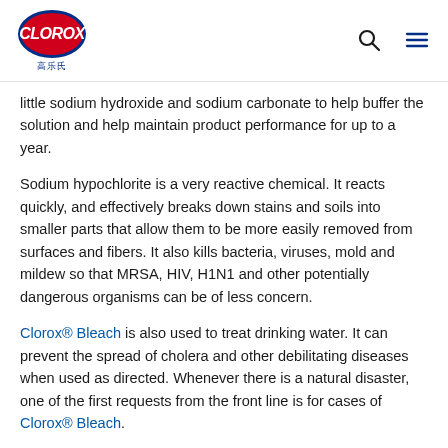CLOROX 高乐氏
little sodium hydroxide and sodium carbonate to help buffer the solution and help maintain product performance for up to a year.
Sodium hypochlorite is a very reactive chemical. It reacts quickly, and effectively breaks down stains and soils into smaller parts that allow them to be more easily removed from surfaces and fibers. It also kills bacteria, viruses, mold and mildew so that MRSA, HIV, H1N1 and other potentially dangerous organisms can be of less concern.
Clorox® Bleach is also used to treat drinking water. It can prevent the spread of cholera and other debilitating diseases when used as directed. Whenever there is a natural disaster, one of the first requests from the front line is for cases of Clorox® Bleach.
Is bleach safe?
After use in household cleaning or laundry, sodium hypochlorite breaks down to 95-98% salt and water. Th...